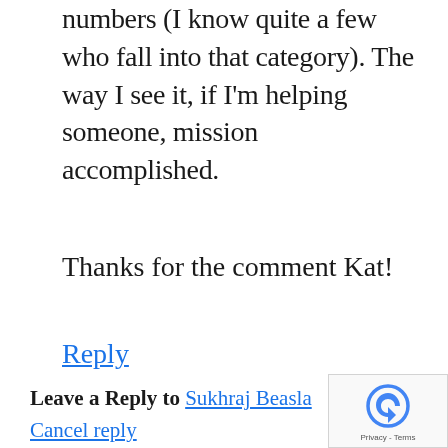numbers (I know quite a few who fall into that category). The way I see it, if I'm helping someone, mission accomplished.
Thanks for the comment Kat!
Reply
Leave a Reply to Sukhraj Beasla Cancel reply
[Figure (other): Google reCAPTCHA widget with spinning arrows logo and Privacy - Terms text]